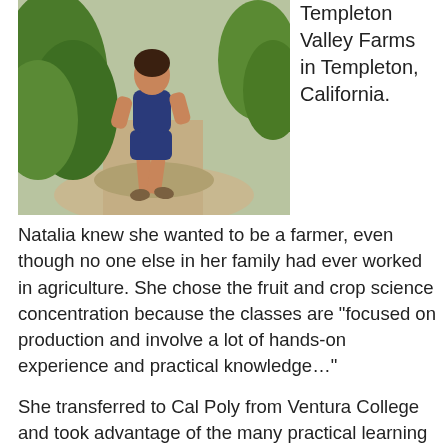[Figure (photo): Young woman walking on a path outdoors, wearing navy blue shorts and top, surrounded by green foliage.]
Templeton Valley Farms in Templeton, California.
Natalia knew she wanted to be a farmer, even though no one else in her family had ever worked in agriculture. She chose the fruit and crop science concentration because the classes are “focused on production and involve a lot of hands-on experience and practical knowledge…”
She transferred to Cal Poly from Ventura College and took advantage of the many practical learning opportunities the PLSC major offers. She completed a summer-long research internship at the Land Institute in Kansas. She participated in the Organic Farm Entrepren…